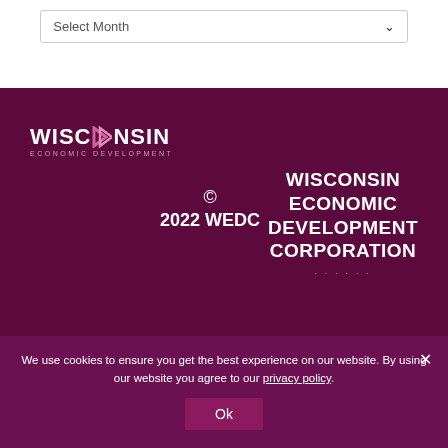Select Month
© 2022 WEDC  WISCONSIN ECONOMIC DEVELOPMENT CORPORATION
We use cookies to ensure you get the best experience on our website. By using our website you agree to our privacy policy.
Ok